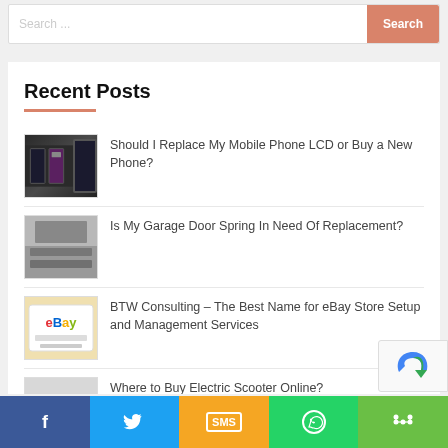Search ...
Recent Posts
Should I Replace My Mobile Phone LCD or Buy a New Phone?
Is My Garage Door Spring In Need Of Replacement?
BTW Consulting – The Best Name for eBay Store Setup and Management Services
Where to Buy Electric Scooter Online?
[Figure (screenshot): Social share bar with Facebook, Twitter, SMS, WhatsApp, and share icons]